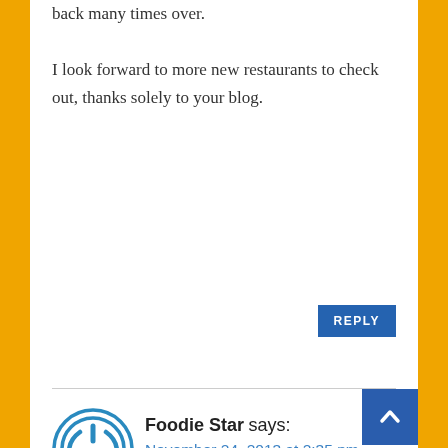back many times over. I look forward to more new restaurants to check out, thanks solely to your blog.
REPLY
Foodie Star says:
November 24, 2013 at 2:35 pm
The tacos el pastor were very flavorful, you could taste the pineapple but the overall effect was savory all the way. The salsa bar was a real treat. The green avocado salsa was my favorite